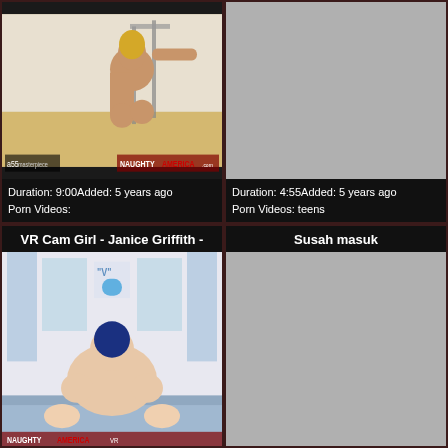[Figure (screenshot): Video thumbnail showing a person in a room, with watermarks for a55masterpiece and NaughtyAmerica.com]
Duration: 9:00Added: 5 years ago
Porn Videos:
[Figure (screenshot): Gray placeholder thumbnail for second video]
Duration: 4:55Added: 5 years ago
Porn Videos: teens
VR Cam Girl - Janice Griffith -
Susah masuk
[Figure (screenshot): Video thumbnail showing a bedroom scene with NaughtyAmerica VR branding]
[Figure (screenshot): Gray placeholder thumbnail for fourth video]